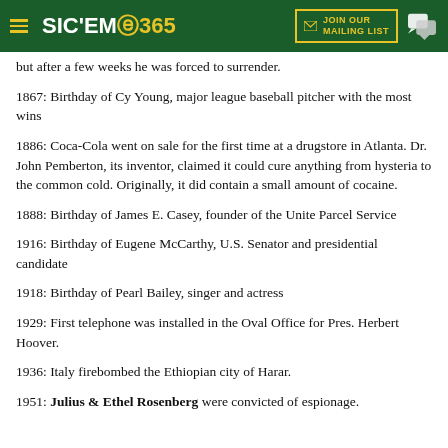SIC'EM 365 | JOIN OUR MAILING LIST
but after a few weeks he was forced to surrender.
1867: Birthday of Cy Young, major league baseball pitcher with the most wins
1886: Coca-Cola went on sale for the first time at a drugstore in Atlanta. Dr. John Pemberton, its inventor, claimed it could cure anything from hysteria to the common cold. Originally, it did contain a small amount of cocaine.
1888: Birthday of James E. Casey, founder of the Unite Parcel Service
1916: Birthday of Eugene McCarthy, U.S. Senator and presidential candidate
1918: Birthday of Pearl Bailey, singer and actress
1929: First telephone was installed in the Oval Office for Pres. Herbert Hoover.
1936: Italy firebombed the Ethiopian city of Harar.
1951: Julius & Ethel Rosenberg were convicted of espionage.